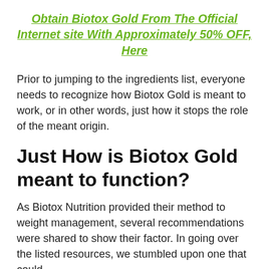Obtain Biotox Gold From The Official Internet site With Approximately 50% OFF, Here
Prior to jumping to the ingredients list, everyone needs to recognize how Biotox Gold is meant to work, or in other words, just how it stops the role of the meant origin.
Just How is Biotox Gold meant to function?
As Biotox Nutrition provided their method to weight management, several recommendations were shared to show their factor. In going over the listed resources, we stumbled upon one that could